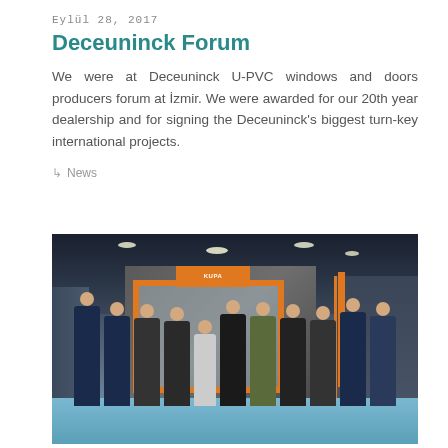Eylül 28, 2017
Deceuninck Forum
We were at Deceuninck U-PVC windows and doors producers forum at İzmir. We were awarded for our 20th year dealership and for signing the Deceuninck's biggest turn-key international projects.
↳ News
[Figure (photo): Group photo of approximately 12 people standing in front of an exhibition booth/stand at a trade fair. The booth has a gray structure with orange framing and a logo at the top. The interior of the exhibition hall shows a blue floor and other booths in the background.]